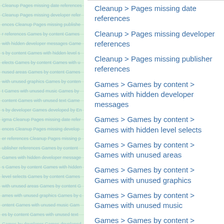Cleanup > Pages missing date references
Cleanup > Pages missing developer references
Cleanup > Pages missing publisher references
Games > Games by content > Games with hidden developer messages
Games > Games by content > Games with hidden level selects
Games > Games by content > Games with unused areas
Games > Games by content > Games with unused graphics
Games > Games by content > Games with unused music
Games > Games by content > Games with unused text
Games > Games by developer > Games developed by Enigma